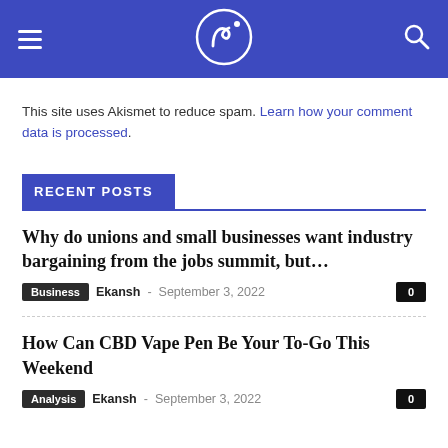Navigation header with hamburger menu, logo, and search icon
This site uses Akismet to reduce spam. Learn how your comment data is processed.
RECENT POSTS
Why do unions and small businesses want industry bargaining from the jobs summit, but...
Business  Ekansh  -  September 3, 2022  0
How Can CBD Vape Pen Be Your To-Go This Weekend
Analysis  Ekansh  -  September 3, 2022  0